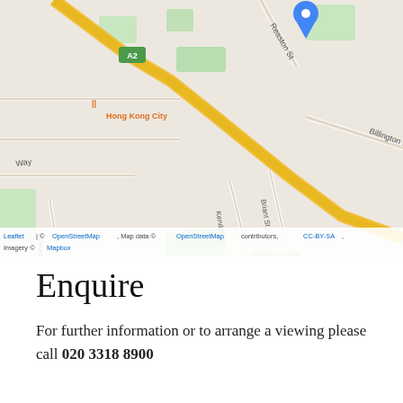[Figure (map): Street map of New Cross area in London showing A2 road, streets including Reaston St, Kender St, Briant St, Besson St, Billington Rd, Goodwood Rd, landmarks including Hong Kong City restaurant, Sainsbury's, Uncle W restaurant, with a blue location pin marker. Map data from OpenStreetMap, imagery from Mapbox.]
Leaflet | © OpenStreetMap, Map data © OpenStreetMap contributors, CC-BY-SA, Imagery © Mapbox
Enquire
For further information or to arrange a viewing please call 020 3318 8900